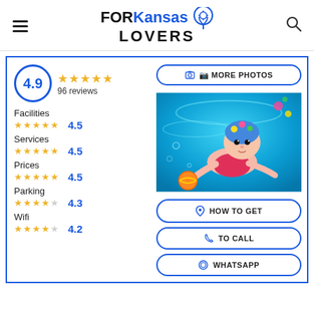FORKansas LOVERS
4.9
96 reviews
Facilities 4.5
Services 4.5
Prices 4.5
Parking 4.3
Wifi 4.2
[Figure (photo): Baby/infant swimming underwater in a pool, wearing a colorful flower swim cap and pink swimsuit, reaching for an orange toy.]
MORE PHOTOS
HOW TO GET
TO CALL
WHATSAPP